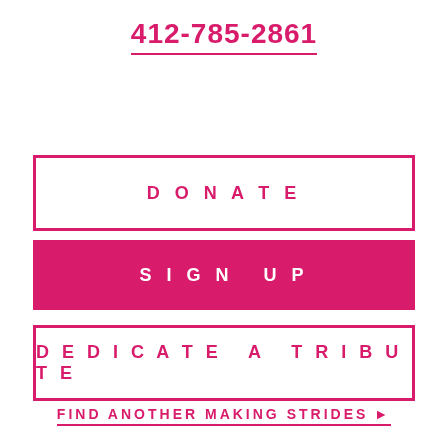412-785-2861
DONATE
SIGN UP
DEDICATE A TRIBUTE
FIND ANOTHER MAKING STRIDES ▶